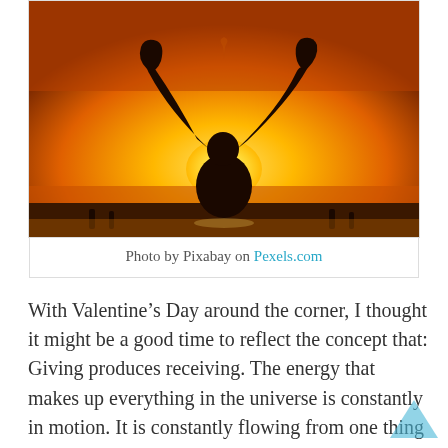[Figure (photo): Silhouette of a person holding up their hands in a heart shape against a warm orange and golden sunset sky]
Photo by Pixabay on Pexels.com
With Valentine’s Day around the corner, I thought it might be a good time to reflect the concept that: Giving produces receiving. The energy that makes up everything in the universe is constantly in motion. It is constantly flowing from one thing to another; flowing in and out and in and out again. Like breath. We cannot just inhale. We must also exhale. That gives us life. And likewise, giving